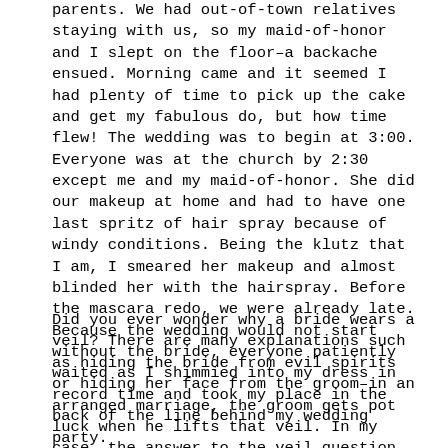parents. We had out-of-town relatives staying with us, so my maid-of-honor and I slept on the floor–a backache ensued. Morning came and it seemed I had plenty of time to pick up the cake and get my fabulous do, but how time flew! The wedding was to begin at 3:00. Everyone was at the church by 2:30 except me and my maid-of-honor. She did our makeup at home and had to have one last spritz of hair spray because of windy conditions. Being the klutz that I am, I smeared her makeup and almost blinded her with the hairspray. Before the mascara redo, we were already late. Because the wedding would not start without the bride, everyone patiently waited as I shimmied into my dress in record time and took my place in the back of the line behind my wedding party.
Did you ever wonder why a bride wears a veil? There are many explanations such as hiding the bride from evil spirits or hiding her face from the groom–in an arranged marriage, the groom gets pot luck when he lifts that veil. In my case, the answer to the veil question was answered at the first sniffle from my dad as we